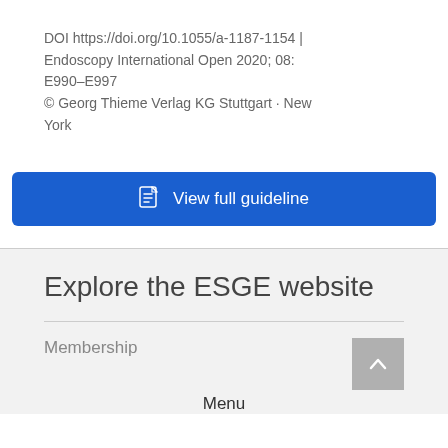DOI https://doi.org/10.1055/a-1187-1154 | Endoscopy International Open 2020; 08: E990–E997
© Georg Thieme Verlag KG Stuttgart · New York
[Figure (other): Blue button labeled 'View full guideline' with a PDF document icon on the left]
Explore the ESGE website
Membership
Menu